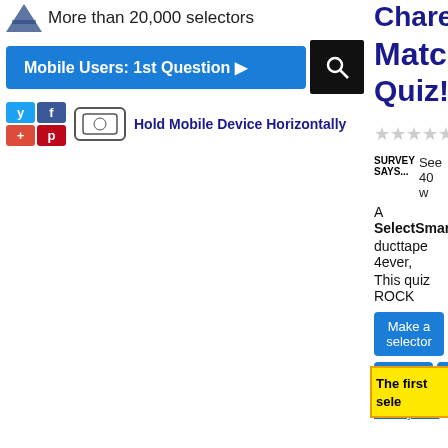More than 20,000 selectors
Mobile Users: 1st Question ▶
Hold Mobile Device Horizontally
Charech Match Quiz!!!!
★★★★★ 0 fro
SURVEY SAYS... See 40 w
A SelectSmart.
ducttape 4ever,
This quiz ROCK
Make a selector
🔒Security
Privacy info.
The first sele